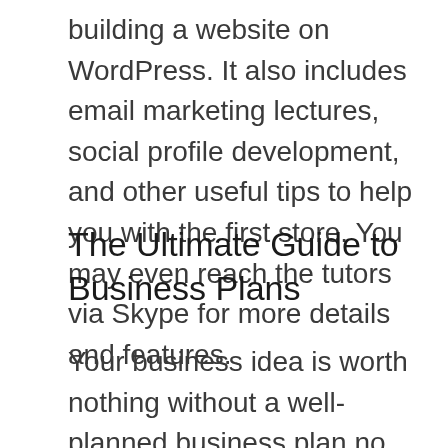building a website on WordPress. It also includes email marketing lectures, social profile development, and other useful tips to help you with the first store. You may even reach the tutors via Skype for more details and features.
The Ultimate Guide to Business Plans
Your business idea is worth nothing without a well-planned business plan no matter how profitable and